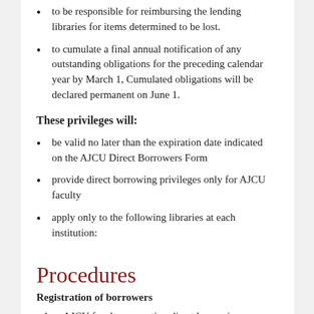to be responsible for reimbursing the lending libraries for items determined to be lost.
to cumulate a final annual notification of any outstanding obligations for the preceding calendar year by March 1, Cumulated obligations will be declared permanent on June 1.
These privileges will:
be valid no later than the expiration date indicated on the AJCU Direct Borrowers Form
provide direct borrowing privileges only for AJCU faculty
apply only to the following libraries at each institution:
Procedures
Registration of borrowers
AJCU faculty requesting direct borrowing privileges must obtain the AJCU Direct Reciprocal Library Borrowers form at the Circulation Desk at the home li…